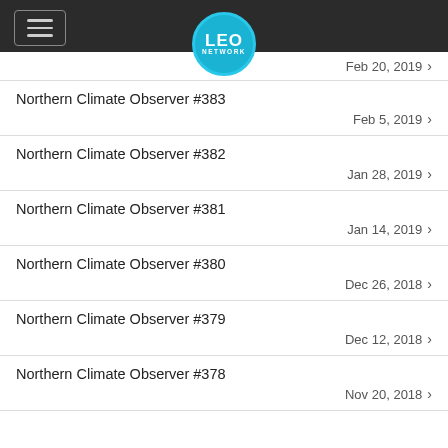LEO NETWORK
Feb 20, 2019
Northern Climate Observer #383 — Feb 5, 2019
Northern Climate Observer #382 — Jan 28, 2019
Northern Climate Observer #381 — Jan 14, 2019
Northern Climate Observer #380 — Dec 26, 2018
Northern Climate Observer #379 — Dec 12, 2018
Northern Climate Observer #378 — Nov 20, 2018